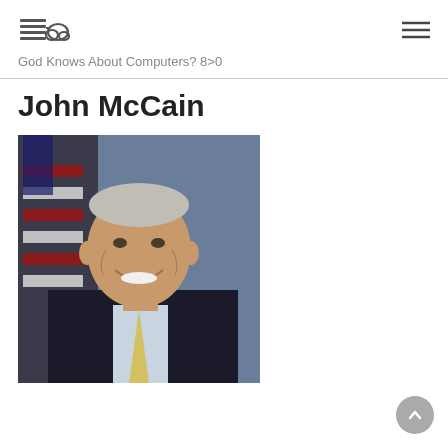God Knows About Computers? 8>0
John McCain
[Figure (photo): Official portrait photo of John McCain in a dark suit with yellow tie, smiling, with an American flag in the background]